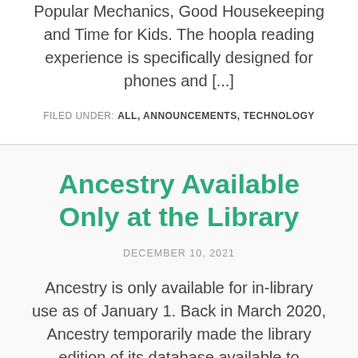Popular Mechanics, Good Housekeeping and Time for Kids. The hoopla reading experience is specifically designed for phones and [...]
FILED UNDER: ALL, ANNOUNCEMENTS, TECHNOLOGY
Ancestry Available Only at the Library
DECEMBER 10, 2021
Ancestry is only available for in-library use as of January 1. Back in March 2020, Ancestry temporarily made the library edition of its database available to patrons at home. Now that library doors are open again, Ancestry is